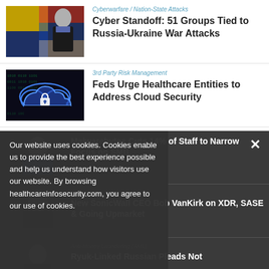[Figure (photo): Thumbnail photo of man against Russian/Ukrainian flag background]
Cyberwarfare / Nation-State Attacks
Cyber Standoff: 51 Groups Tied to Russia-Ukraine War Attacks
[Figure (photo): Thumbnail of digital cloud with lock icon on dark background]
3rd Party Risk Management
Feds Urge Healthcare Entities to Address Cloud Security
[Figure (photo): Thumbnail of man, Malwarebytes article]
Malwarebytes Cuts 14% of Staff to Narrow Focus on SMB
[Figure (photo): Thumbnail of man, SonicWall CEO article]
Expert Xpert
New SonicWall CEO Bob VanKirk on XDR, SASE & Going Upmarket
[Figure (photo): Thumbnail of man, Ryuk article]
Anti-Money Laundering (AML)
Ryuk-Linked Russian Pleads Not
Our website uses cookies. Cookies enable us to provide the best experience possible and help us understand how visitors use our website. By browsing healthcareinfosecurity.com, you agree to our use of cookies.